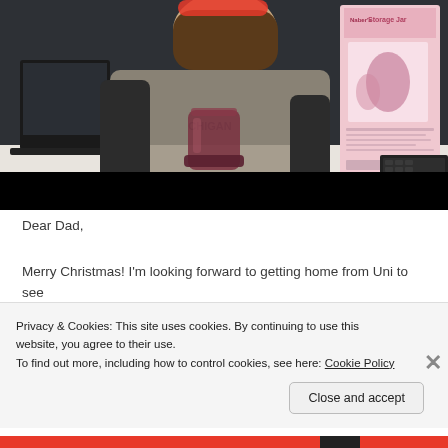[Figure (screenshot): Video screenshot showing a young woman sitting at a desk with a laptop, holding a dark red/purple glass storage jar. On the right side of the desk is a pink product box labeled 'Storage Jar'. The lower portion of the video frame is black (letterbox).]
Dear Dad,
Merry Christmas! I’m looking forward to getting home from Uni to see everyone again. For your present this year I’ve done something
Privacy & Cookies: This site uses cookies. By continuing to use this website, you agree to their use.
To find out more, including how to control cookies, see here: Cookie Policy
Close and accept